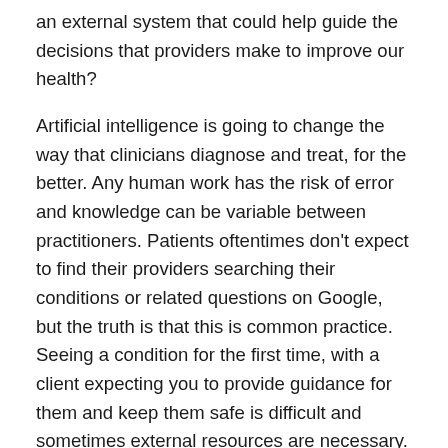an external system that could help guide the decisions that providers make to improve our health?
Artificial intelligence is going to change the way that clinicians diagnose and treat, for the better. Any human work has the risk of error and knowledge can be variable between practitioners. Patients oftentimes don't expect to find their providers searching their conditions or related questions on Google, but the truth is that this is common practice. Seeing a condition for the first time, with a client expecting you to provide guidance for them and keep them safe is difficult and sometimes external resources are necessary. In my first years of practice, Google Scholar and the search engine became my close alliances while I navigated many new diagnoses and patient questions.